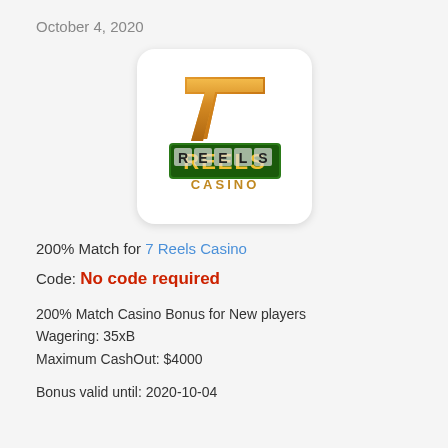October 4, 2020
[Figure (logo): 7 Reels Casino logo — a stylized orange/gold '7' above a sign reading 'REELS CASINO' with green and gold styling on a white rounded square background]
200% Match for 7 Reels Casino
Code: No code required
200% Match Casino Bonus for New players
Wagering: 35xB
Maximum CashOut: $4000
Bonus valid until: 2020-10-04